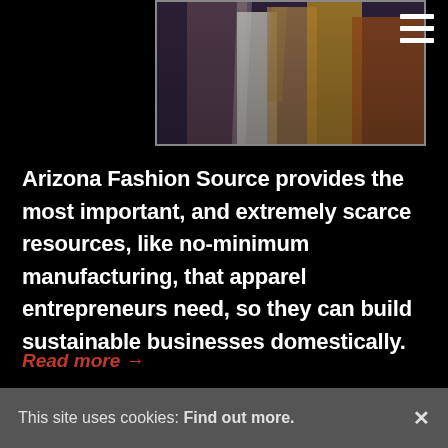[Figure (photo): Fashion photograph showing people in colorful clothing, cropped at top of page]
Arizona Fashion Source provides the most important, and extremely scarce resources, like no-minimum manufacturing, that apparel entrepreneurs need, so they can build sustainable businesses domestically.
Read more →
Back to Top
This site uses cookies: Find out more. ×